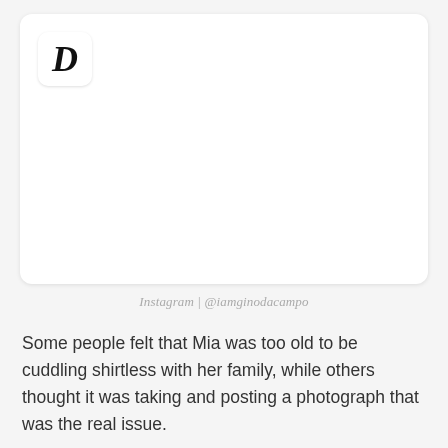[Figure (other): White card with a bold italic D logo in the upper left corner, representing a media/news brand logo on a white rounded card background]
Instagram | @iamginodacampo
Some people felt that Mia was too old to be cuddling shirtless with her family, while others thought it was taking and posting a photograph that was the real issue.